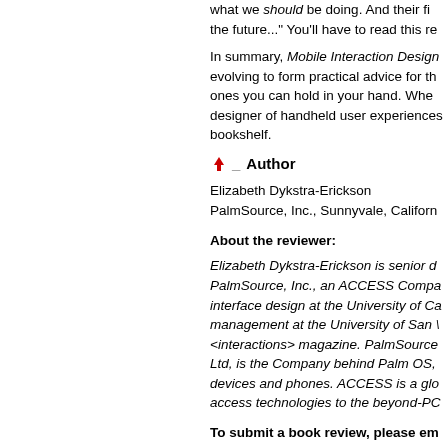what we should be doing. And their fi the future..." You'll have to read this re
In summary, Mobile Interaction Design evolving to form practical advice for th ones you can hold in your hand. Whe designer of handheld user experiences bookshelf.
Author
Elizabeth Dykstra-Erickson
PalmSource, Inc., Sunnyvale, Californ
About the reviewer:
Elizabeth Dykstra-Erickson is senior d PalmSource, Inc., an ACCESS Compa interface design at the University of Ca management at the University of San <interactions> magazine. PalmSource Ltd, is the Company behind Palm OS, devices and phones. ACCESS is a glo access technologies to the beyond-PC
To submit a book review, please em gerard.torenvliet@cmcelectronics.c